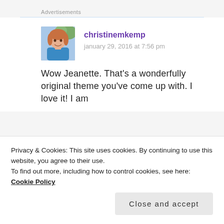Advertisements
[Figure (photo): Profile photo of christinemkemp, a woman with reddish-blonde hair wearing a blue top, smiling outdoors]
christinemkemp
january 29, 2016 at 7:56 pm
Wow Jeanette. That's a wonderfully original theme you've come up with. I love it! I am
Privacy & Cookies: This site uses cookies. By continuing to use this website, you agree to their use.
To find out more, including how to control cookies, see here: Cookie Policy
Close and accept